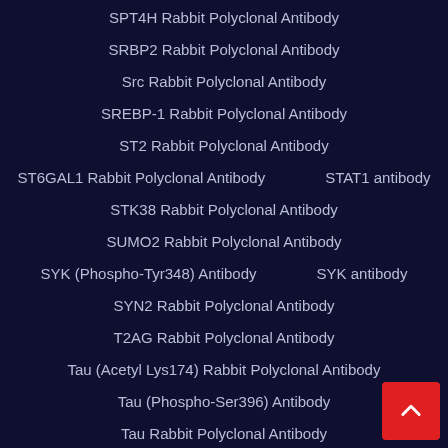SPT4H Rabbit Polyclonal Antibody
SRBP2 Rabbit Polyclonal Antibody
Src Rabbit Polyclonal Antibody
SREBP-1 Rabbit Polyclonal Antibody
ST2 Rabbit Polyclonal Antibody
ST6GAL1 Rabbit Polyclonal Antibody
STAT1 antibody
STK38 Rabbit Polyclonal Antibody
SUMO2 Rabbit Polyclonal Antibody
SYK (Phospho-Tyr348) Antibody
SYK antibody
SYN2 Rabbit Polyclonal Antibody
T2AG Rabbit Polyclonal Antibody
Tau (Acetyl Lys174) Rabbit Polyclonal Antibody
Tau (Phospho-Ser396) Antibody
Tau Rabbit Polyclonal Antibody